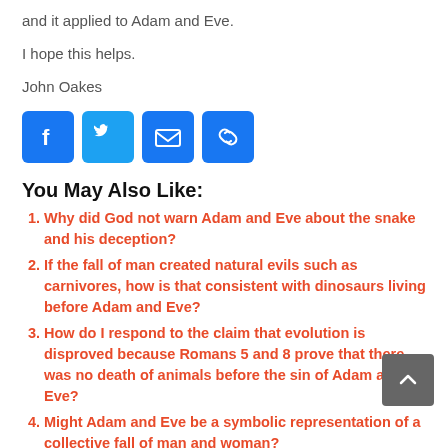and it applied to Adam and Eve.
I hope this helps.
John Oakes
[Figure (infographic): Four social sharing icon buttons: Facebook (blue), Twitter (blue), Email (blue), Link/copy (blue)]
You May Also Like:
Why did God not warn Adam and Eve about the snake and his deception?
If the fall of man created natural evils such as carnivores, how is that consistent with dinosaurs living before Adam and Eve?
How do I respond to the claim that evolution is disproved because Romans 5 and 8 prove that there was no death of animals before the sin of Adam and Eve?
Might Adam and Eve be a symbolic representation of a collective fall of man and woman?